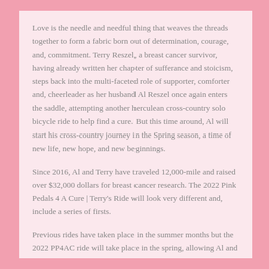Love is the needle and needful thing that weaves the threads together to form a fabric born out of determination, courage, and, commitment. Terry Reszel, a breast cancer survivor, having already written her chapter of sufferance and stoicism, steps back into the multi-faceted role of supporter, comforter and, cheerleader as her husband Al Reszel once again enters the saddle, attempting another herculean cross-country solo bicycle ride to help find a cure. But this time around, Al will start his cross-country journey in the Spring season, a time of new life, new hope, and new beginnings.
Since 2016, Al and Terry have traveled 12,000-mile and raised over $32,000 dollars for breast cancer research. The 2022 Pink Pedals 4 A Cure | Terry's Ride will look very different and, include a series of firsts.
Previous rides have taken place in the summer months but the 2022 PP4AC ride will take place in the spring, allowing Al and Terry to begin and end the ride before the onslaught of summer searing heat and humidity.
Al will be 63 years of age when he snaps into his pink pedals in March of 2022. What's the old adAGE … 'age before beauty' or in this case